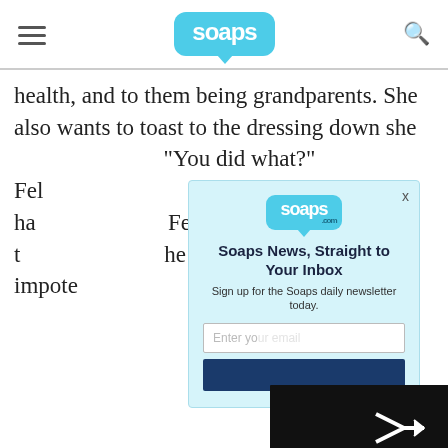soaps
health, and to them being grandparents. She also wants to toast to the dressing down she [partially obscured] “You did what?” Fel[icia] [partially obscured] ell him that he ha[d] [partially obscured] Felicia revels in t[he fact that] he was an impote[nt] [partially obscured] to be forgotten.
[Figure (screenshot): Email newsletter signup modal overlay with soaps.com logo, title 'Soaps News, Straight to Your Inbox', subtitle 'Sign up for the Soaps daily newsletter today.', email input field and dark blue subscribe button.]
FEATURED VIDE[O]
[Figure (screenshot): Video player showing error message: 'The video cannot be played in this browser. (Error Code: 242632)' with a play/arrow icon on dark background. An X close button appears top right. A thumbnail strip is partially visible with a red-haired woman and 'her? Adam team!' text.]